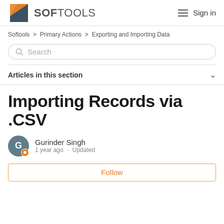SOFTOOLS | Sign in
Softools > Primary Actions > Exporting and Importing Data
Search
Articles in this section
Importing Records via .CSV
Gurinder Singh
1 year ago · Updated
Follow